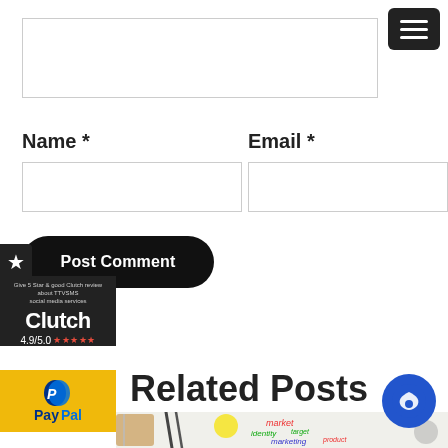[Figure (screenshot): Hamburger menu button top right]
[Figure (screenshot): Comment textarea input box]
Name *
Email *
[Figure (screenshot): Name text input field]
[Figure (screenshot): Email text input field]
Post Comment
[Figure (logo): Clutch 4.9/5.0 rating widget with star tab and PayPal logo]
Related Posts
[Figure (photo): Marketing related image with notebooks, pens, sticky note and handwritten words: market, identity, target, advertising, product, marketing]